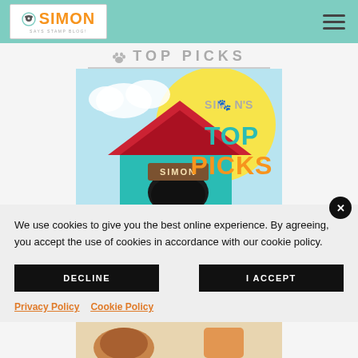Simon Says Stamp Blog - Top Picks
TOP PICKS
[Figure (illustration): Simon's Top Picks banner image showing a dog house with teal interior, red triangular roof, yellow sun/badge background, with text 'SIMON'S TOP PICKS' in teal and orange]
We use cookies to give you the best online experience. By agreeing, you accept the use of cookies in accordance with our cookie policy.
DECLINE
I ACCEPT
Privacy Policy   Cookie Policy
[Figure (illustration): Partial bottom image showing colorful cartoon characters/animals]